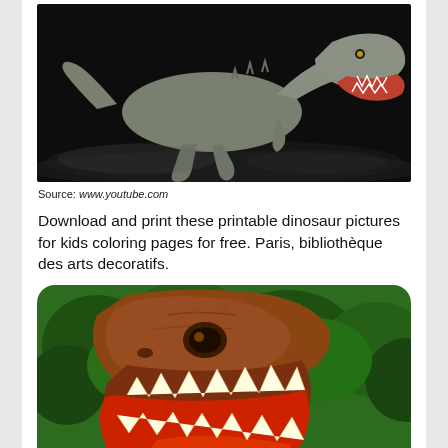[Figure (photo): A realistic CGI or rendered T-Rex dinosaur in profile view, gray-scaled, walking aggressively with mouth open showing teeth, against a dark smoky black background.]
Source: www.youtube.com
Download and print these printable dinosaur pictures for kids coloring pages for free. Paris, bibliothèque des arts decoratifs.
[Figure (photo): Close-up photo of a roaring T-Rex dinosaur model or sculpture with orange-brown skin and large sharp yellow-orange teeth, mouth wide open, set against a lush green forest background.]